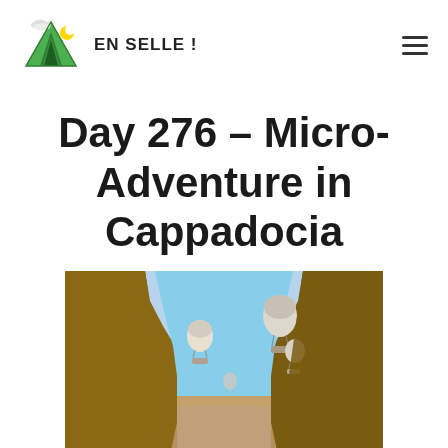EN SELLE !
Day 276 – Micro-Adventure in Cappadocia
[Figure (photo): View from inside a tent looking out through a tent opening at hot air balloons floating over the Cappadocia landscape under a blue sky, with rocky terrain visible in the distance.]